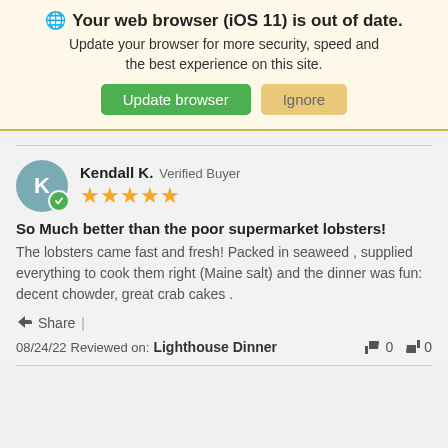🌐 Your web browser (iOS 11) is out of date. Update your browser for more security, speed and the best experience on this site.
Update browser | Ignore
Kendall K. Verified Buyer ★★★★★
So Much better than the poor supermarket lobsters!
The lobsters came fast and fresh! Packed in seaweed , supplied everything to cook them right (Maine salt) and the dinner was fun: decent chowder, great crab cakes .
Share |
08/24/22 Reviewed on: Lighthouse Dinner
👍 0  👎 0